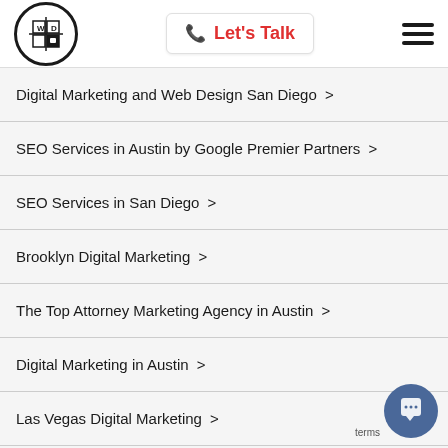Logo | Let's Talk | Menu
Digital Marketing and Web Design San Diego >
SEO Services in Austin by Google Premier Partners >
SEO Services in San Diego >
Brooklyn Digital Marketing >
The Top Attorney Marketing Agency in Austin >
Digital Marketing in Austin >
Las Vegas Digital Marketing >
New York City Digital Marketing Agency and SEO Gurus >